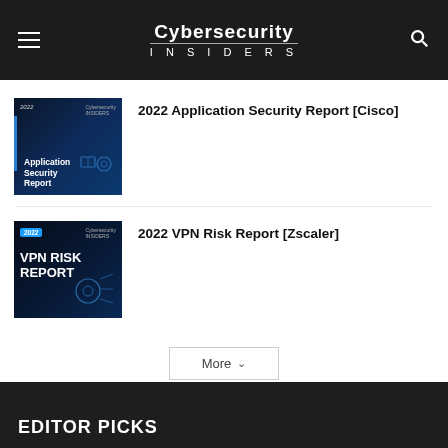Cybersecurity INSIDERS
[Figure (screenshot): 2022 Application Security Report cover thumbnail — dark blue background with white text and cyan accent bar]
2022 Application Security Report [Cisco]
[Figure (screenshot): 2022 VPN Risk Report cover thumbnail — dark navy background with bold white text and blue year badge]
2022 VPN Risk Report [Zscaler]
More
EDITOR PICKS